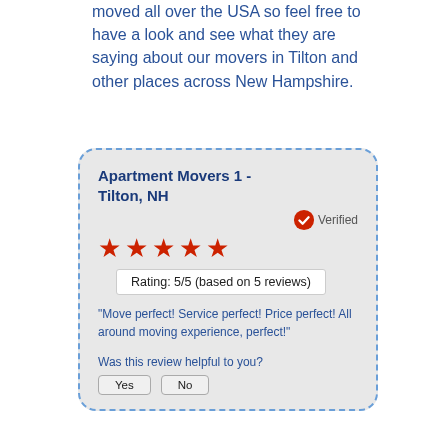moved all over the USA so feel free to have a look and see what they are saying about our movers in Tilton and other places across New Hampshire.
Apartment Movers 1 - Tilton, NH
Verified
★★★★★
Rating: 5/5 (based on 5 reviews)
"Move perfect! Service perfect! Price perfect! All around moving experience, perfect!"
Was this review helpful to you?
Yes  No